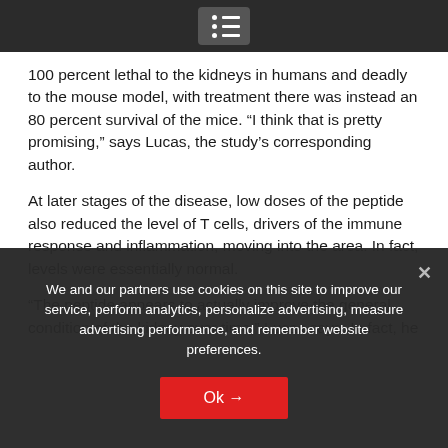[Menu icon / navigation bar]
100 percent lethal to the kidneys in humans and deadly to the mouse model, with treatment there was instead an 80 percent survival of the mice. “I think that is pretty promising,” says Lucas, the study’s corresponding author.
At later stages of the disease, low doses of the peptide also reduced the level of T cells, drivers of the immune response and inflammation, moving into the area. In fact, levels were essentially normal.
“The peptide appears to actually improve the general condition of the kidney over time,” Lucas says. In fact, he
We and our partners use cookies on this site to improve our service, perform analytics, personalize advertising, measure advertising performance, and remember website preferences.